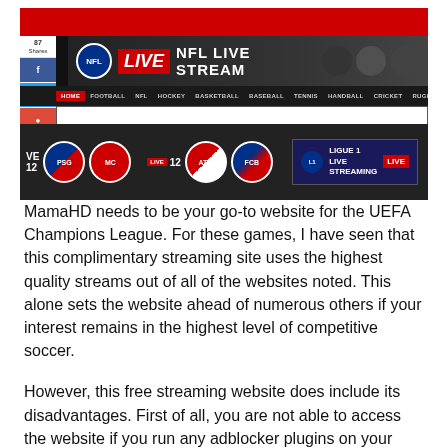[Figure (screenshot): Screenshot of MamaHD sports streaming website showing NFL Live Stream banner, navigation bar with sports categories (Football, NFL, Hockey, Basketball, Baseball, Tennis, Handball, Cricket, Rugby, Other), search bar, and sports team logos row with PSG, AS Monaco, Atletico Madrid, FC Barcelona, and Ligue 1 Live Streaming banner. Social share sidebar shows 87 shares.]
MamaHD needs to be your go-to website for the UEFA Champions League. For these games, I have seen that this complimentary streaming site uses the highest quality streams out of all of the websites noted. This alone sets the website ahead of numerous others if your interest remains in the highest level of competitive soccer.
However, this free streaming website does include its disadvantages. First of all, you are not able to access the website if you run any adblocker plugins on your internet